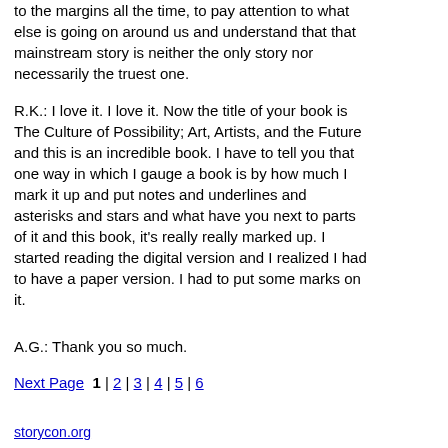to the margins all the time, to pay attention to what else is going on around us and understand that that mainstream story is neither the only story nor necessarily the truest one.
R.K.: I love it. I love it. Now the title of your book is The Culture of Possibility; Art, Artists, and the Future and this is an incredible book. I have to tell you that one way in which I gauge a book is by how much I mark it up and put notes and underlines and asterisks and stars and what have you next to parts of it and this book, it's really really marked up. I started reading the digital version and I realized I had to have a paper version. I had to put some marks on it.
A.G.: Thank you so much.
Next Page  1 | 2 | 3 | 4 | 5 | 6
storycon.org